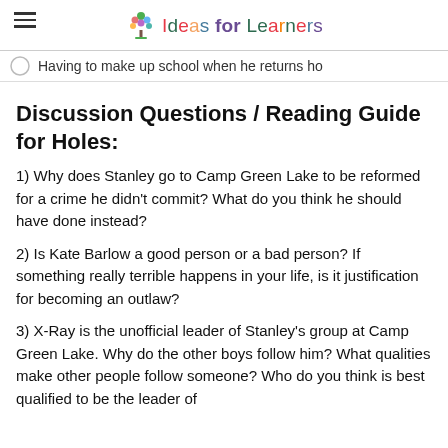Ideas for Learners
Having to make up school when he returns ho
Discussion Questions / Reading Guide for Holes:
1) Why does Stanley go to Camp Green Lake to be reformed for a crime he didn't commit? What do you think he should have done instead?
2) Is Kate Barlow a good person or a bad person? If something really terrible happens in your life, is it justification for becoming an outlaw?
3) X-Ray is the unofficial leader of Stanley's group at Camp Green Lake. Why do the other boys follow him? What qualities make other people follow someone? Who do you think is best qualified to be the leader of